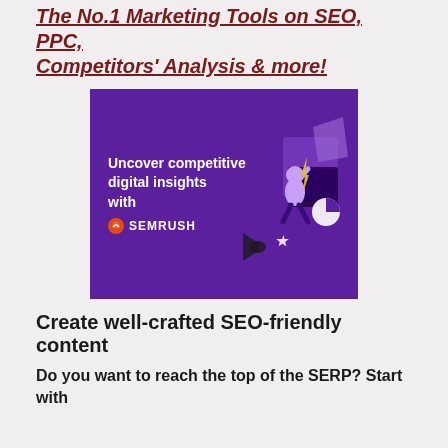The No.1 Marketing Tools on SEO, PPC, Competitors' Analysis & more!
[Figure (illustration): Semrush advertisement banner with purple background showing text 'Uncover competitive digital insights with Semrush' and an illustrated character]
Create well-crafted SEO-friendly content
Do you want to reach the top of the SERP? Start with